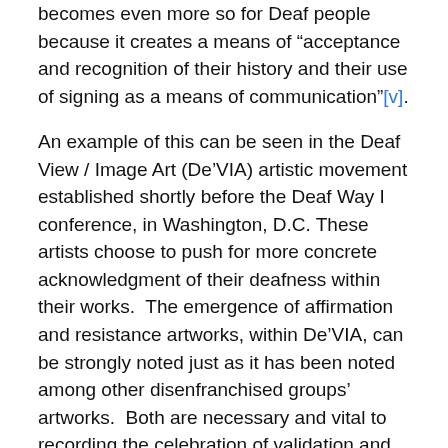becomes even more so for Deaf people because it creates a means of “acceptance and recognition of their history and their use of signing as a means of communication”[v].
An example of this can be seen in the Deaf View / Image Art (De’VIA) artistic movement established shortly before the Deaf Way I conference, in Washington, D.C. These artists choose to push for more concrete acknowledgment of their deafness within their works.  The emergence of affirmation and resistance artworks, within De’VIA, can be strongly noted just as it has been noted among other disenfranchised groups’ artworks.  Both are necessary and vital to recording the celebration of validation and achieving a sense of belonging to sign language and Deaf culture. It also becomes a focal point for expressing the outrage against the oppression Deaf people because “language issues are often at the core of struggles by